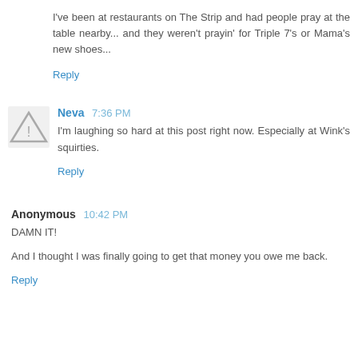I've been at restaurants on The Strip and had people pray at the table nearby... and they weren't prayin' for Triple 7's or Mama's new shoes...
Reply
Neva  7:36 PM
I'm laughing so hard at this post right now. Especially at Wink's squirties.
Reply
Anonymous  10:42 PM
DAMN IT!
And I thought I was finally going to get that money you owe me back.
Reply